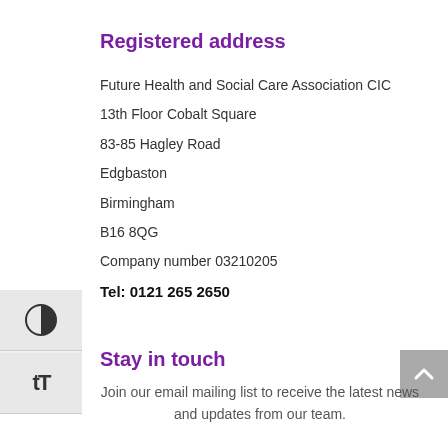Registered address
Future Health and Social Care Association CIC
13th Floor Cobalt Square
83-85 Hagley Road
Edgbaston
Birmingham
B16 8QG
Company number 03210205
Tel: 0121 265 2650
Stay in touch
Join our email mailing list to receive the latest news and updates from our team.